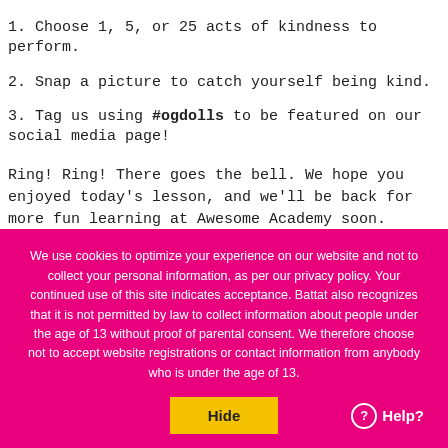1. Choose 1, 5, or 25 acts of kindness to perform.
2. Snap a picture to catch yourself being kind.
3. Tag us using #ogdolls to be featured on our social media page!
Ring! Ring! There goes the bell. We hope you enjoyed today's lesson, and we'll be back for more fun learning at Awesome Academy soon.
We use cookies to optimize your experience on our website and not to collect your personal information, as per our privacy policy. Your continued use of this site indicates acceptance. Battat also recognizes that it is not permitted by law to collect information about people under the age of 13 without proof of parental consent. We therefore choose not to accept website registrations or contact information from anybody who is under the age of 13.